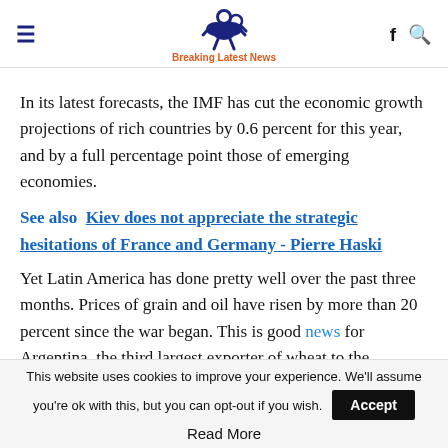Breaking Latest News
In its latest forecasts, the IMF has cut the economic growth projections of rich countries by 0.6 percent for this year, and by a full percentage point those of emerging economies.
See also  Kiev does not appreciate the strategic hesitations of France and Germany - Pierre Haski
Yet Latin America has done pretty well over the past three months. Prices of grain and oil have risen by more than 20 percent since the war began. This is good news for Argentina, the third largest exporter of wheat to the Americas after the
This website uses cookies to improve your experience. We'll assume you're ok with this, but you can opt-out if you wish. Accept
Read More